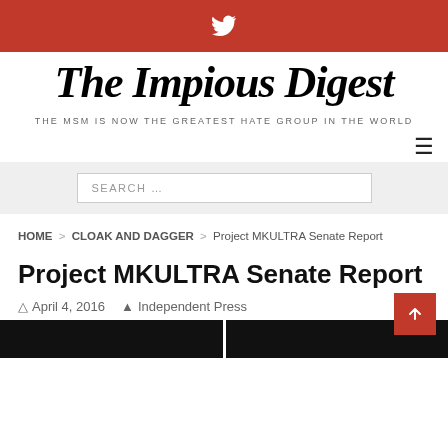Twitter icon / top bar
The Impious Digest
THE MSM IS NOW THE GREATEST HATE GROUP IN THE WORLD
SEARCH …
HOME › CLOAK AND DAGGER › Project MKULTRA Senate Report
Project MKULTRA Senate Report
April 4, 2016  Independent Press